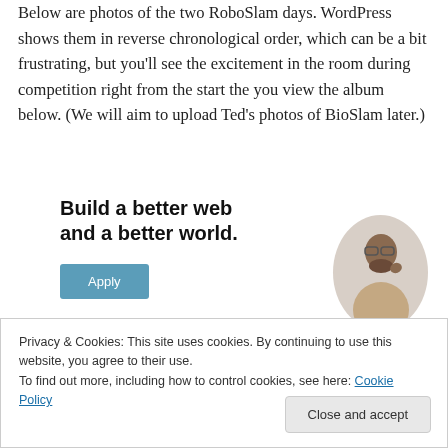Below are photos of the two RoboSlam days. WordPress shows them in reverse chronological order, which can be a bit frustrating, but you'll see the excitement in the room during competition right from the start the you view the album below. (We will aim to upload Ted's photos of BioSlam later.)
[Figure (screenshot): Advertisement banner reading 'Build a better web and a better world.' with a blue Apply button and a photo of a man thinking]
Privacy & Cookies: This site uses cookies. By continuing to use this website, you agree to their use.
To find out more, including how to control cookies, see here: Cookie Policy